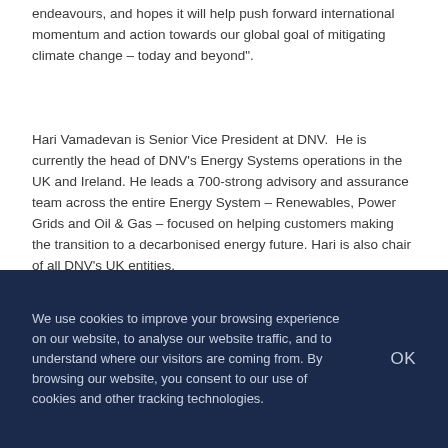endeavours, and hopes it will help push forward international momentum and action towards our global goal of mitigating climate change – today and beyond".
Hari Vamadevan is Senior Vice President at DNV. He is currently the head of DNV's Energy Systems operations in the UK and Ireland. He leads a 700-strong advisory and assurance team across the entire Energy System – Renewables, Power Grids and Oil & Gas – focused on helping customers making the transition to a decarbonised energy future. Hari is also chair of all DNV's UK entities.
We use cookies to improve your browsing experience on our website, to analyse our website traffic, and to understand where our visitors are coming from. By browsing our website, you consent to our use of cookies and other tracking technologies.